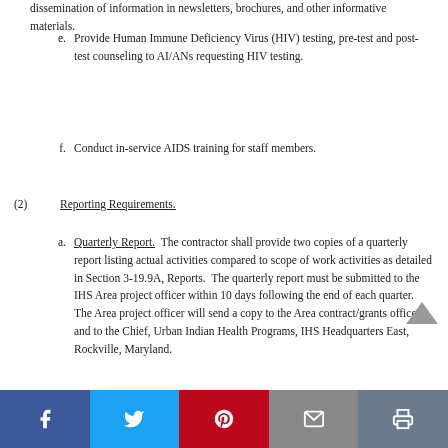dissemination of information in newsletters, brochures, and other informative materials.
e.  Provide Human Immune Deficiency Virus (HIV) testing, pre-test and post-test counseling to AI/ANs requesting HIV testing.
f.  Conduct in-service AIDS training for staff members.
(2)  Reporting Requirements.
a.  Quarterly Report.  The contractor shall provide two copies of a quarterly report listing actual activities compared to scope of work activities as detailed in Section 3-19.9A, Reports.  The quarterly report must be submitted to the IHS Area project officer within 10 days following the end of each quarter.  The Area project officer will send a copy to the Area contract/grants officer, and to the Chief, Urban Indian Health Programs, IHS Headquarters East, Rockville, Maryland.